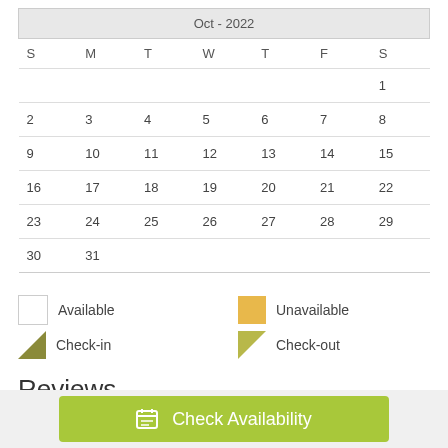| S | M | T | W | T | F | S |
| --- | --- | --- | --- | --- | --- | --- |
|  |  |  |  |  |  | 1 |
| 2 | 3 | 4 | 5 | 6 | 7 | 8 |
| 9 | 10 | 11 | 12 | 13 | 14 | 15 |
| 16 | 17 | 18 | 19 | 20 | 21 | 22 |
| 23 | 24 | 25 | 26 | 27 | 28 | 29 |
| 30 | 31 |  |  |  |  |  |
Available
Unavailable
Check-in
Check-out
Reviews
Check Availability